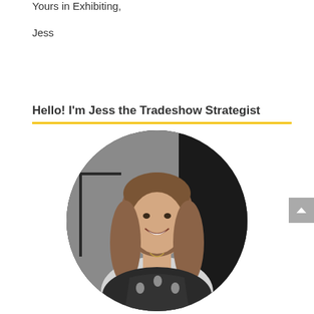Yours in Exhibiting,
Jess
Hello! I'm Jess the Tradeshow Strategist
[Figure (photo): Circular portrait photo of a smiling woman with long blonde/brown wavy hair, wearing a black and white patterned sleeveless top, standing indoors with a dark background.]